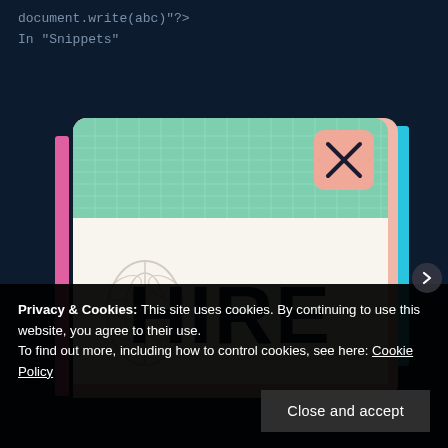document.write(abc)"?>
In "Snippets"
[Figure (illustration): Illustration of a browser window/popup with a green grid header area, a pink salmon close button with X, a light beige content area showing bold dark text 'HIRE' with decorative leaf/floral motifs, framed by pink and cyan/blue border accents on the sides, on a dark navy background]
Privacy & Cookies: This site uses cookies. By continuing to use this website, you agree to their use.
To find out more, including how to control cookies, see here: Cookie Policy
Close and accept